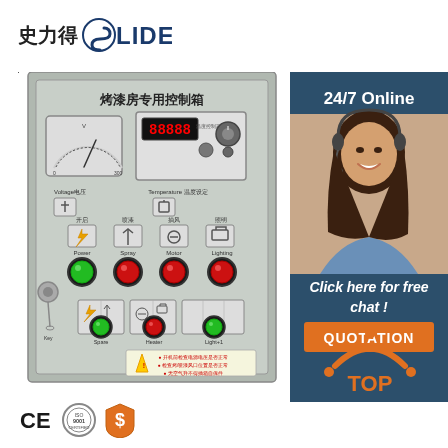[Figure (logo): Slide brand logo with Chinese characters 史力得 and SLIDE text with stylized S]
[Figure (photo): Industrial control box panel for paint baking room (烤漆房专用控制箱) with voltage meter, temperature controller, buttons (Power, Spray, Motor, Lighting), key switch, and warning labels in Chinese]
24/7 Online
[Figure (photo): Customer service agent woman with headset smiling]
Click here for free chat !
QUOTATION
[Figure (logo): TOP badge with orange triangle/arch icon and TOP text]
[Figure (logo): CE certification mark]
[Figure (logo): ISO 9001 certification seal]
[Figure (logo): Dollar/quality badge icon]